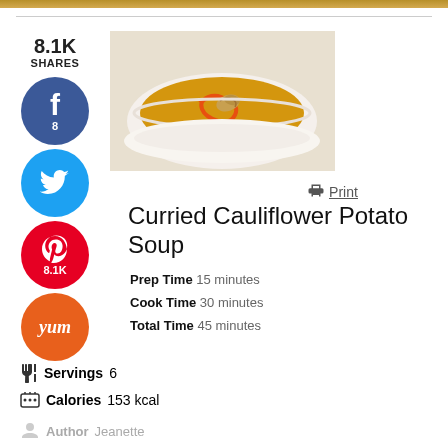[Figure (photo): Bowl of curried cauliflower potato soup with orange swirl and garnish on top]
Print
Curried Cauliflower Potato Soup
Prep Time 15 minutes
Cook Time 30 minutes
Total Time 45 minutes
Servings 6
Calories 153 kcal
Author Jeanette